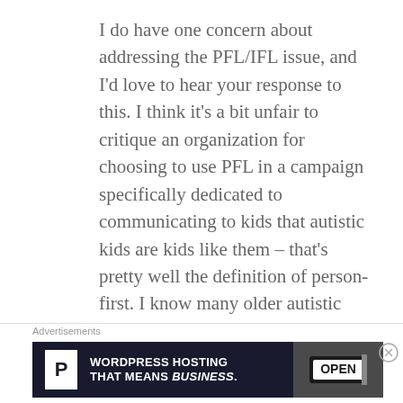I do have one concern about addressing the PFL/IFL issue, and I'd love to hear your response to this. I think it's a bit unfair to critique an organization for choosing to use PFL in a campaign specifically dedicated to communicating to kids that autistic kids are kids like them – that's pretty well the definition of person-first. I know many older autistic kids and autistic adults express a preference for IFL, but that's surely not universal. If you have a group that prefers one and a group that prefers the other, how do we
Advertisements
[Figure (screenshot): Advertisement banner for WordPress Hosting with dark background, P logo, text 'WORDPRESS HOSTING THAT MEANS BUSINESS.' and an image of an OPEN sign on the right]